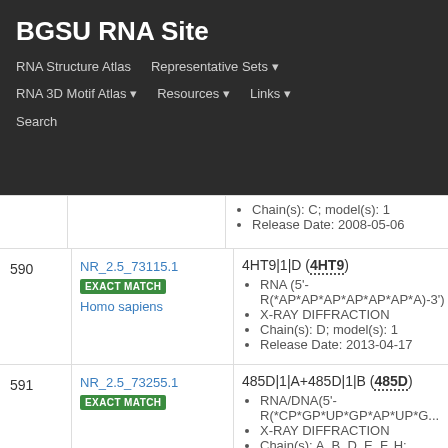BGSU RNA Site
RNA Structure Atlas | Representative Sets ▾ | RNA 3D Motif Atlas ▾ | Resources ▾ | Links ▾ | Search
| # | Equivalence Class | Representative Structure |
| --- | --- | --- |
|  |  | Chain(s): C; model(s): 1
Release Date: 2008-05-06 |
| 590 | NR_2.5_73115.1
EXACT MATCH
Homo sapiens | 4HT9|1|D (4HT9)
RNA (5'-R(*AP*AP*AP*AP*AP*AP*A)-3')
X-RAY DIFFRACTION
Chain(s): D; model(s): 1
Release Date: 2013-04-17 |
| 591 | NR_2.5_73255.1
EXACT MATCH | 485D|1|A+485D|1|B (485D)
RNA/DNA(5'-R(*CP*GP*UP*GP*AP*UP*G...
X-RAY DIFFRACTION
Chain(s): A, B, D, E, F, H; model(s): 1
Release Date: 1999-12-18 |